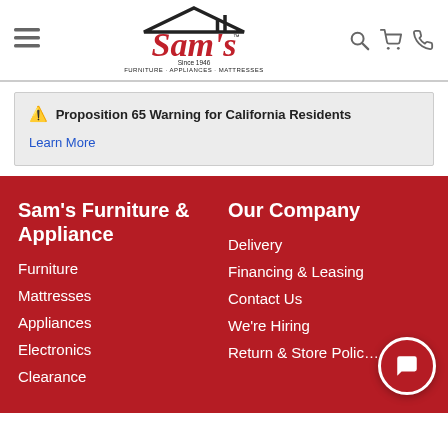[Figure (logo): Sam's Furniture & Appliances logo with house roof graphic and tagline FURNITURE · APPLIANCES · MATTRESSES]
⚠ Proposition 65 Warning for California Residents
Learn More
Sam's Furniture & Appliance
Furniture
Mattresses
Appliances
Electronics
Clearance
Our Company
Delivery
Financing & Leasing
Contact Us
We're Hiring
Return & Store Policy